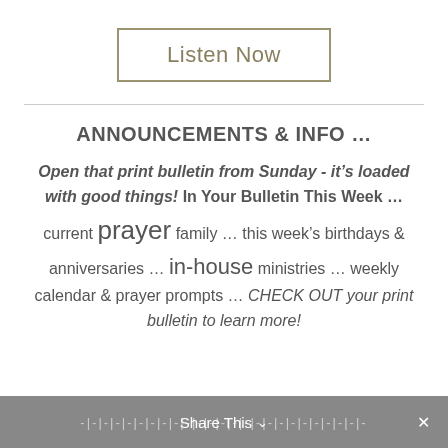[Figure (other): Listen Now button with olive/tan border]
ANNOUNCEMENTS & INFO …
Open that print bulletin from Sunday - it's loaded with good things! In Your Bulletin This Week … current prayer family … this week's birthdays & anniversaries … in-house ministries … weekly calendar & prayer prompts … CHECK OUT your print bulletin to learn more!
Share This ✓